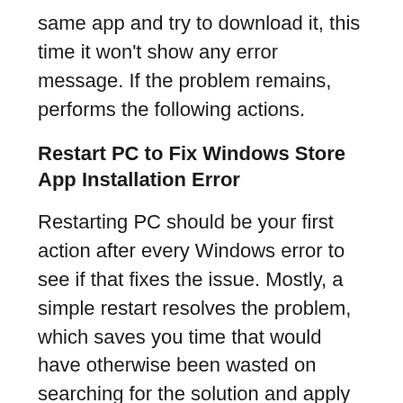same app and try to download it, this time it won't show any error message. If the problem remains, performs the following actions.
Restart PC to Fix Windows Store App Installation Error
Restarting PC should be your first action after every Windows error to see if that fixes the issue. Mostly, a simple restart resolves the problem, which saves you time that would have otherwise been wasted on searching for the solution and apply the method. Once you restart PC, open the app installation folder, and launch the app. This time it should work.